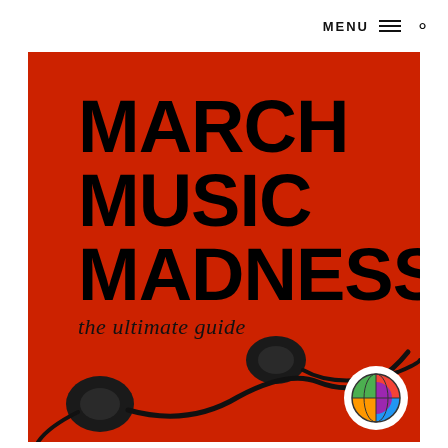MENU
[Figure (photo): March Music Madness - the ultimate guide. Red background with black earphones/earbuds at the bottom. Large bold black text reads MARCH MUSIC MADNESS with italic subtitle 'the ultimate guide'. A colorful globe logo is in the bottom right corner.]